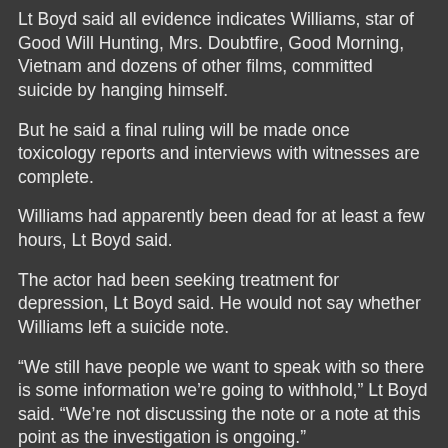Lt Boyd said all evidence indicates Williams, star of Good Will Hunting, Mrs. Doubtfire, Good Morning, Vietnam and dozens of other films, committed suicide by hanging himself.
But he said a final ruling will be made once toxicology reports and interviews with witnesses are complete.
Williams had apparently been dead for at least a few hours, Lt Boyd said.
The actor had been seeking treatment for depression, Lt Boyd said. He would not say whether Williams left a suicide note.
“We still have people we want to speak with so there is some information we’re going to withhold,” Lt Boyd said. “We’re not discussing the note or a note at this point as the investigation is ongoing.”
The Oscar-winning actor for years dealt with bouts of substance abuse and depression and referenced his struggles in his comedy routines. Just last month, Williams